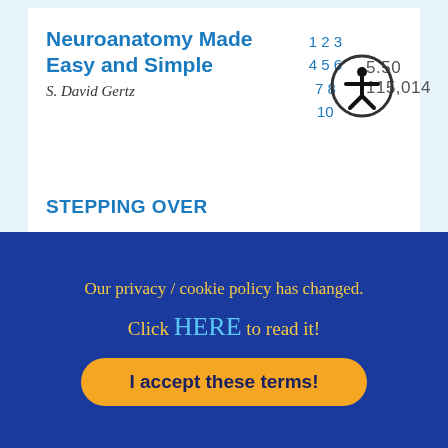Neuroanatomy Made Easy and Simple
S. David Gertz
5.50   115,014
1 2 3
4 5 6
7 8
10
STEPPING OVER
Our privacy / cookie policy has changed.
Click HERE to read it!
I accept these terms!